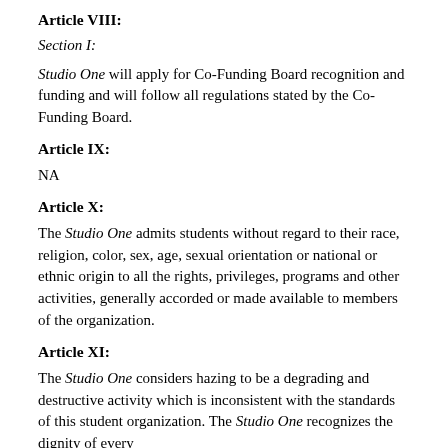Article VIII:
Section I:
Studio One will apply for Co-Funding Board recognition and funding and will follow all regulations stated by the Co-Funding Board.
Article IX:
NA
Article X:
The Studio One admits students without regard to their race, religion, color, sex, age, sexual orientation or national or ethnic origin to all the rights, privileges, programs and other activities, generally accorded or made available to members of the organization.
Article XI:
The Studio One considers hazing to be a degrading and destructive activity which is inconsistent with the standards of this student organization. The Studio One recognizes the dignity of every